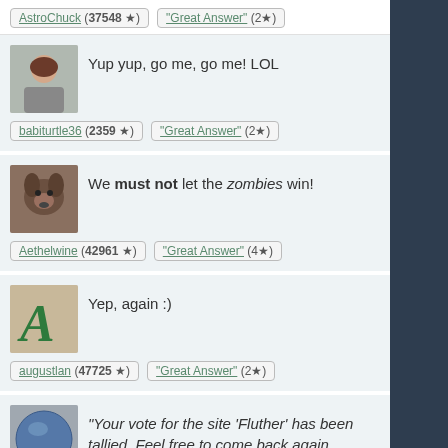AstroChuck (37548 ★) | "Great Answer" (2★)
Yup yup, go me, go me! LOL
babiturtle36 (2359 ★) | "Great Answer" (2★)
We must not let the zombies win!
Aethelwine (42961 ★) | "Great Answer" (4★)
Yep, again :)
augustlan (47725 ★) | "Great Answer" (2★)
"Your vote for the site 'Fluther' has been tallied. Feel free to come back again tomorrow and make yourself heard again :)"